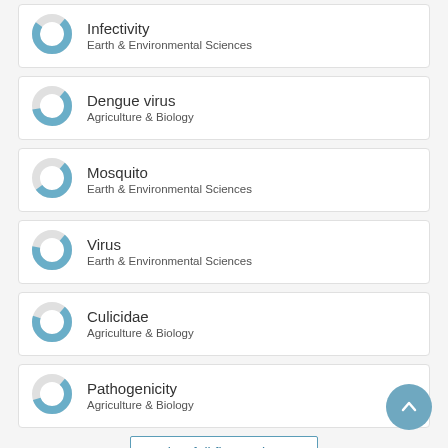Infectivity — Earth & Environmental Sciences
Dengue virus — Agriculture & Biology
Mosquito — Earth & Environmental Sciences
Virus — Earth & Environmental Sciences
Culicidae — Agriculture & Biology
Pathogenicity — Agriculture & Biology
View full fingerprint >